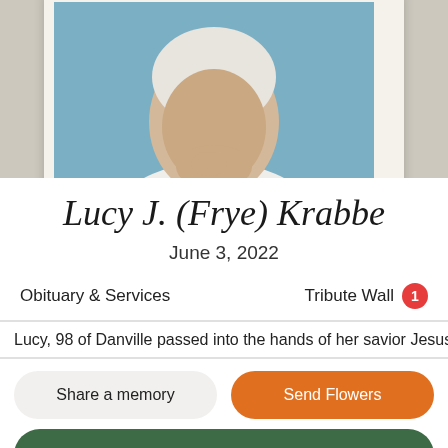[Figure (photo): Portrait photo of an elderly woman with white hair, wearing a white outfit and pearl necklace, against a blue background, displayed in a cream-bordered frame]
Lucy J. (Frye) Krabbe
June 3, 2022
Obituary & Services
Tribute Wall 1
Lucy, 98 of Danville passed into the hands of her savior Jesus
Share a memory
Send Flowers
Plant a Tree